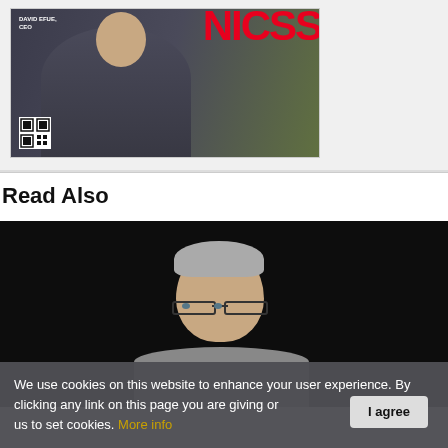[Figure (photo): Magazine cover showing a person in a suit, red NICSS logo text, and a QR code in the lower left. Green field background on right side.]
Read Also
[Figure (photo): Portrait photo of a middle-aged man with short gray hair and glasses, against a dark/black background, smiling slightly.]
We use cookies on this website to enhance your user experience. By clicking any link on this page you are giving your consent for us to set cookies. More info